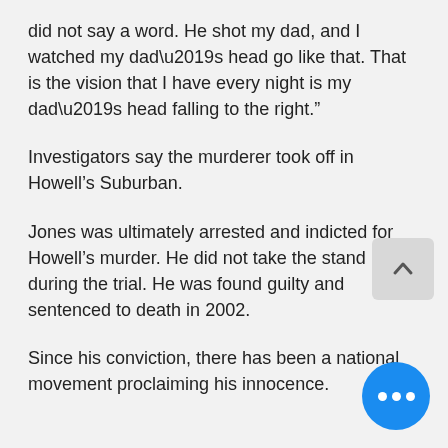did not say a word. He shot my dad, and I watched my dad’s head go like that. That is the vision that I have every night is my dad’s head falling to the right.”
Investigators say the murderer took off in Howell’s Suburban.
Jones was ultimately arrested and indicted for Howell’s murder. He did not take the stand during the trial. He was found guilty and sentenced to death in 2002.
Since his conviction, there has been a national movement proclaiming his innocence.